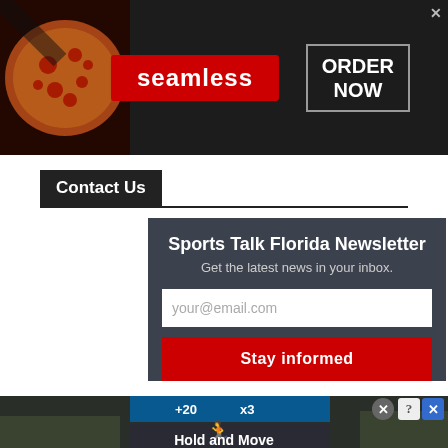[Figure (screenshot): Seamless food delivery advertisement banner with pizza image on left, red 'seamless' logo in center, and 'ORDER NOW' box on right, dark background]
Contact Us
[Figure (screenshot): Sports Talk Florida Newsletter signup widget with dark background, email input field, and red 'Stay informed' button]
[Figure (screenshot): Bottom advertisement for a game app with 'Hold and Move' text, showing score display with +20 and x3, dark background with trees and road]